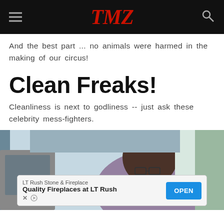TMZ
And the best part ... no animals were harmed in the making of our circus!
Clean Freaks!
Cleanliness is next to godliness -- just ask these celebrity mess-fighters.
[Figure (photo): Person leaning over a car, wearing glasses and a purple shirt; partially visible green background on the right side.]
LT Rush Stone & Fireplace
Quality Fireplaces at LT Rush
OPEN